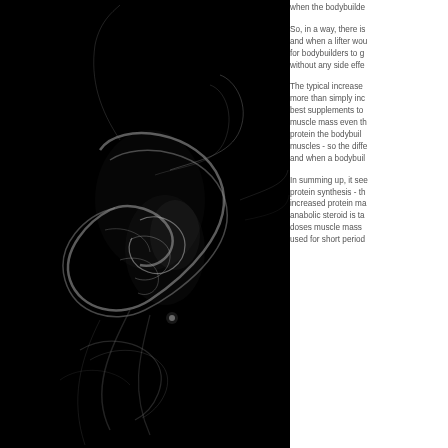[Figure (photo): Dark background photo of white smoke swirling, creating abstract patterns against a black background.]
when the bodybuilde
So, in a way, there is and when a lifter wou for bodybuilders to g without any side effe
The typical increase more than simply inc best supplements to muscle mass even th protein the bodybuil muscles - so the diffe and when a bodybuil
In summing up, it see protein synthesis - th increased protein ma anabolic steroid is ta doses muscle mass used for short period